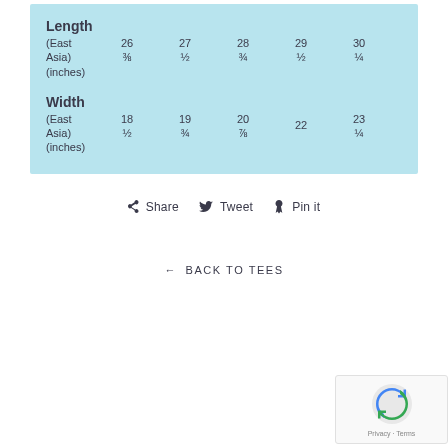|  | 26 ⅜ | 27 ½ | 28 ¾ | 29 ½ | 30 ¼ |
| --- | --- | --- | --- | --- | --- |
| Length (East Asia) (inches) | 26 ⅜ | 27 ½ | 28 ¾ | 29 ½ | 30 ¼ |
|  | 18 ½ | 19 ¾ | 20 ⅞ | 22 | 23 ¼ |
| --- | --- | --- | --- | --- | --- |
| Width (East Asia) (inches) | 18 ½ | 19 ¾ | 20 ⅞ | 22 | 23 ¼ |
Share  Tweet  Pin it
← BACK TO TEES